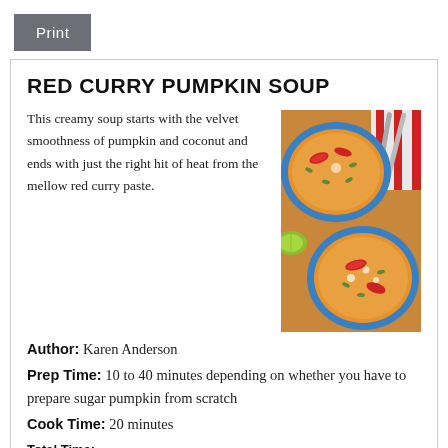Print
RED CURRY PUMPKIN SOUP
[Figure (photo): Two blue bowls of orange pumpkin soup garnished with red pepper slices, pumpkin seeds, and white cream swirls, with cutlery and a red and white cloth in the background]
This creamy soup starts with the velvet smoothness of pumpkin and coconut and ends with just the right hit of heat from the mellow red curry paste.
Author: Karen Anderson
Prep Time: 10 to 40 minutes depending on whether you have to prepare sugar pumpkin from scratch
Cook Time: 20 minutes